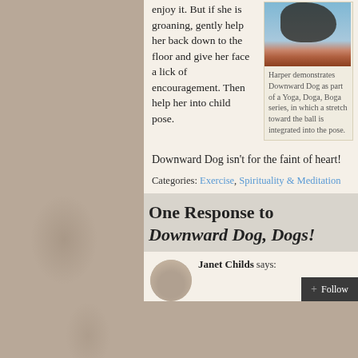enjoy it. But if she is groaning, gently help her back down to the floor and give her face a lick of encouragement. Then help her into child pose.
[Figure (photo): A dog (Harper) photographed from above demonstrating Downward Dog pose on a rug, with blue sky background]
Harper demonstrates Downward Dog as part of a Yoga, Doga, Boga series, in which a stretch toward the ball is integrated into the pose.
Downward Dog isn't for the faint of heart!
Categories: Exercise, Spirituality & Meditation
One Response to Downward Dog, Dogs!
Janet Childs says: